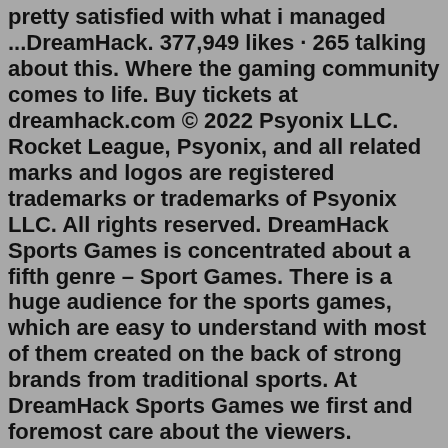pretty satisfied with what i managed ...DreamHack. 377,949 likes · 265 talking about this. Where the gaming community comes to life. Buy tickets at dreamhack.com © 2022 Psyonix LLC. Rocket League, Psyonix, and all related marks and logos are registered trademarks or trademarks of Psyonix LLC. All rights reserved. DreamHack Sports Games is concentrated about a fifth genre – Sport Games. There is a huge audience for the sports games, which are easy to understand with most of them created on the back of strong brands from traditional sports. At DreamHack Sports Games we first and foremost care about the viewers. DreamHack 2013 Champions. 2013.12.01 - Congratulations to fnatic who won the DreamHack SteelSeries Counter-Strike: Global Offensive Championship against Ninjas in Pyjamas.. As winner of the biggest tournament in CS:GO history fnatic walk way with $100,000 of the $250,000 community-funded prize pool. If you missed any of the matches or want to watch the highlights, you can